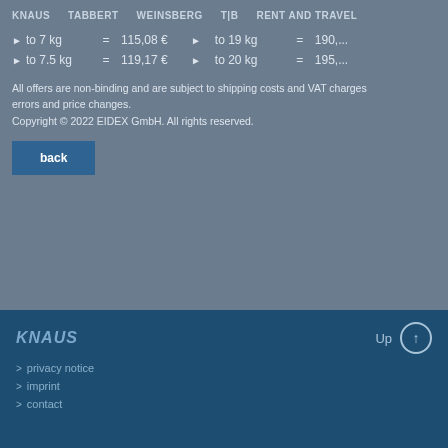KNAUS  TABBERT  WEINSBERG  T|B  RENT AND TRAVEL
▶ to 7 kg = 115,08 €   ▶ to 19 kg = 190,...
▶ to 7.5 kg = 119,17 €   ▶ to 20 kg = 195,...
All offers are non-binding and are subject to shipping costs and VAT charges... errors and price changes.
Copyright © 2022 EIDEX GmbH. All rights reserved.
back
KNAUS   Up   > privacy notice   > imprint   > contact